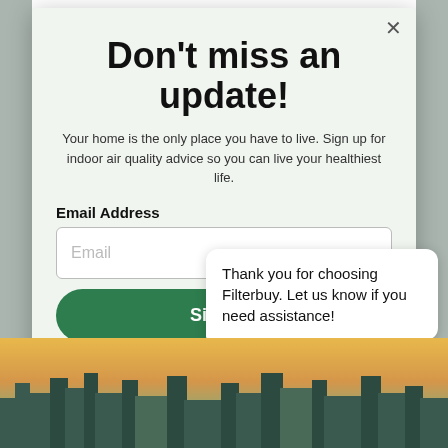Don't miss an update!
Your home is the only place you have to live. Sign up for indoor air quality advice so you can live your healthiest life.
Email Address
Email
Sign Up
By signing up, you
No, thanks
Thank you for choosing Filterbuy. Let us know if you need assistance!
[Figure (photo): City skyline photo at bottom of page]